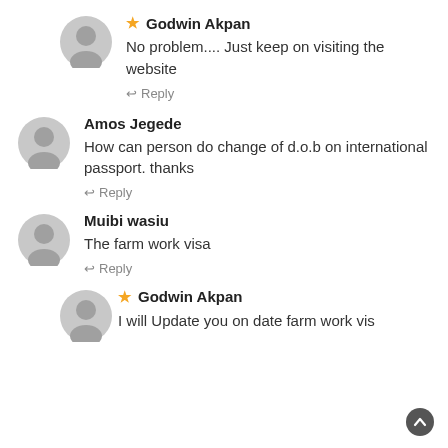★ Godwin Akpan
No problem.... Just keep on visiting the website
↩ Reply
Amos Jegede
How can person do change of d.o.b on international passport. thanks
↩ Reply
Muibi wasiu
The farm work visa
↩ Reply
★ Godwin Akpan
I will Update you on date farm work vis